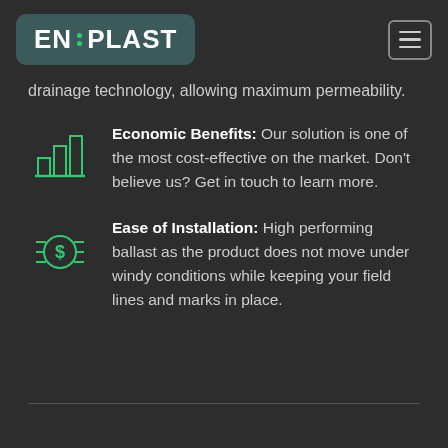EN:PLAST
drainage technology, allowing maximum permeability.
Economic Benefits: Our solution is one of the most cost-effective on the market. Don't believe us? Get in touch to learn more.
Ease of Installation: High performing ballast as the product does not move under windy conditions while keeping your field lines and marks in place.